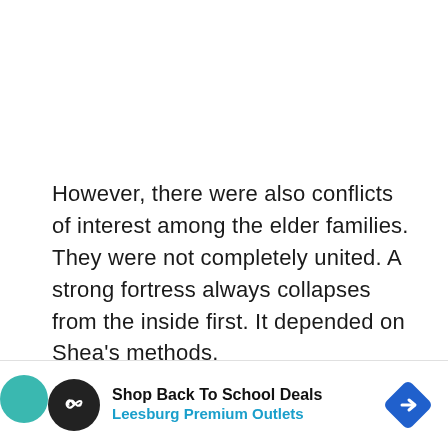However, there were also conflicts of interest among the elder families. They were not completely united. A strong fortress always collapses from the inside first. It depended on Shea's methods.

As the footsteps of the guards sounded, Shea and Chen Rui noticed them almost at
[Figure (other): Advertisement banner: Shop Back To School Deals - Leesburg Premium Outlets, with play button, circular logo icon, and blue diamond navigation icon]